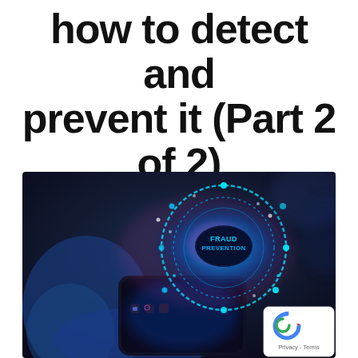how to detect and prevent it (Part 2 of 2)
[Figure (photo): A person holding a smartphone displaying a futuristic holographic 'FRAUD PREVENTION' interface with glowing blue circular rings, digital icons, and light effects. A reCAPTCHA Privacy-Terms badge is overlaid in the bottom-right corner.]